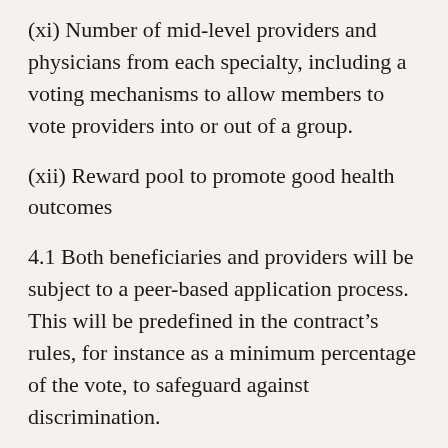(xi) Number of mid-level providers and physicians from each specialty, including a voting mechanisms to allow members to vote providers into or out of a group.
(xii) Reward pool to promote good health outcomes
4.1 Both beneficiaries and providers will be subject to a peer-based application process. This will be predefined in the contract’s rules, for instance as a minimum percentage of the vote, to safeguard against discrimination.
4.2 All financial and health outcomes (in anonymous